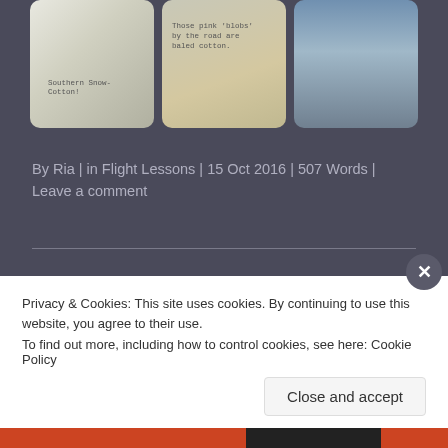[Figure (photo): Three photo cards on dark background: left card shows a sandy/snowy surface with handwritten text 'Southern Snow-Cotton!', middle card shows tan/beige surface with handwritten text 'Those pink blobs by the road are baled cotton', right card shows a cloudy sky scene.]
By Ria | in Flight Lessons | 15 Oct 2016 | 507 Words | Leave a comment
Lesson Recap #14:
Privacy & Cookies: This site uses cookies. By continuing to use this website, you agree to their use.
To find out more, including how to control cookies, see here: Cookie Policy
Close and accept